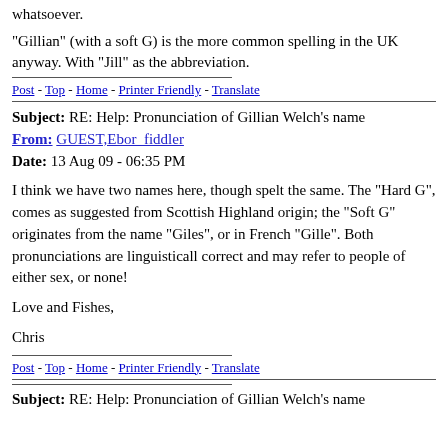whatsoever.
"Gillian" (with a soft G) is the more common spelling in the UK anyway. With "Jill" as the abbreviation.
Post - Top - Home - Printer Friendly - Translate
Subject: RE: Help: Pronunciation of Gillian Welch's name
From: GUEST,Ebor_fiddler
Date: 13 Aug 09 - 06:35 PM
I think we have two names here, though spelt the same. The "Hard G", comes as suggested from Scottish Highland origin; the "Soft G" originates from the name "Giles", or in French "Gille". Both pronunciations are linguisticall correct and may refer to people of either sex, or none!
Love and Fishes,
Chris
Post - Top - Home - Printer Friendly - Translate
Subject: RE: Help: Pronunciation of Gillian Welch's name